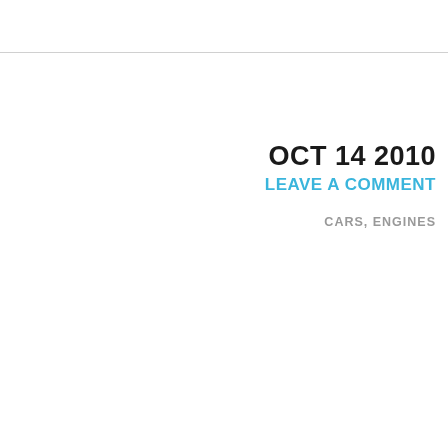Skyjacker Suspensions, The Custom Sh...
OCT 14 2010
LEAVE A COMMENT
CARS, ENGINES
2011 FORD F-150 FUEL EC...
[Figure (photo): Front view of a 2011 Ford F-150 truck, black color, parked on a dirt road with green trees and a fence in the background, blue sky.]